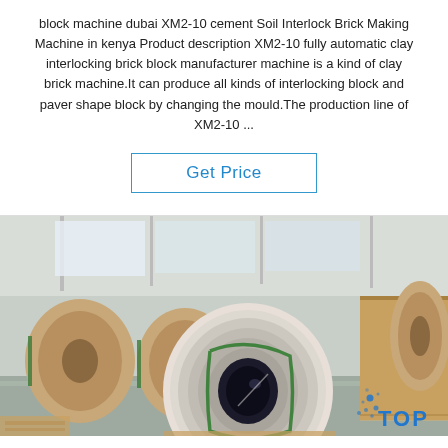block machine dubai XM2-10 cement Soil Interlock Brick Making Machine in kenya Product description XM2-10 fully automatic clay interlocking brick block manufacturer machine is a kind of clay brick machine.It can produce all kinds of interlocking block and paver shape block by changing the mould.The production line of XM2-10 ...
Get Price
[Figure (photo): Warehouse interior showing large rolls/coils of material wrapped in brown paper with green straps, stored on wooden pallets. A large coil in the foreground is shown from the front revealing a dark hollow center. The background shows additional coils and boxed pallets. A 'TOP' logo with blue dots appears in the bottom right corner.]